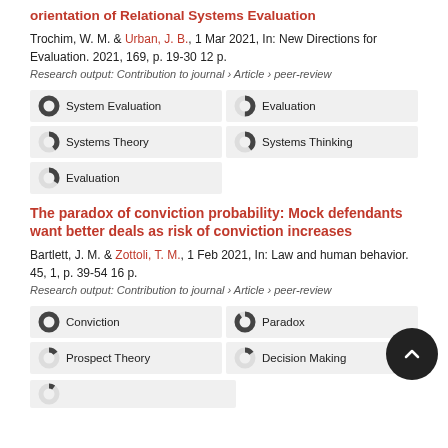orientation of Relational Systems Evaluation
Trochim, W. M. & Urban, J. B., 1 Mar 2021, In: New Directions for Evaluation. 2021, 169, p. 19-30 12 p.
Research output: Contribution to journal › Article › peer-review
[Figure (infographic): Tag boxes with donut chart icons showing percentages: 100% System Evaluation, 50% Evaluation, 40% Systems Theory, 40% Systems Thinking, 30% Evaluation]
The paradox of conviction probability: Mock defendants want better deals as risk of conviction increases
Bartlett, J. M. & Zottoli, T. M., 1 Feb 2021, In: Law and human behavior. 45, 1, p. 39-54 16 p.
Research output: Contribution to journal › Article › peer-review
[Figure (infographic): Tag boxes with donut chart icons: 100% Conviction, 90% Paradox, 15% Prospect Theory, 15% Decision Making]